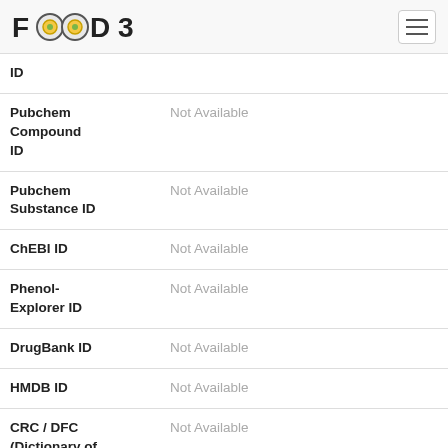FOODB
| Field | Value |
| --- | --- |
| ID |  |
| Pubchem Compound ID | Not Available |
| Pubchem Substance ID | Not Available |
| ChEBI ID | Not Available |
| Phenol-Explorer ID | Not Available |
| DrugBank ID | Not Available |
| HMDB ID | Not Available |
| CRC / DFC (Dictionary of Food Compounds) ID | Not Available |